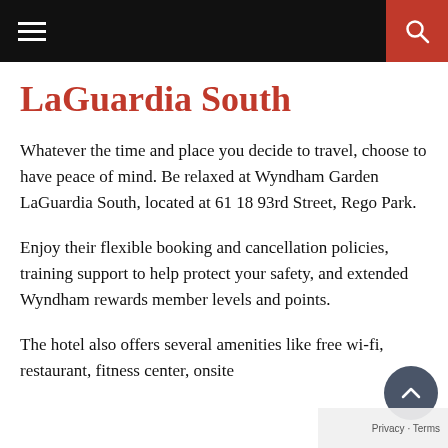LaGuardia South — navigation header with hamburger menu and search button
LaGuardia South
Whatever the time and place you decide to travel, choose to have peace of mind. Be relaxed at Wyndham Garden LaGuardia South, located at 61 18 93rd Street, Rego Park.
Enjoy their flexible booking and cancellation policies, training support to help protect your safety, and extended Wyndham rewards member levels and points.
The hotel also offers several amenities like free wi-fi, restaurant, fitness center, onsite…